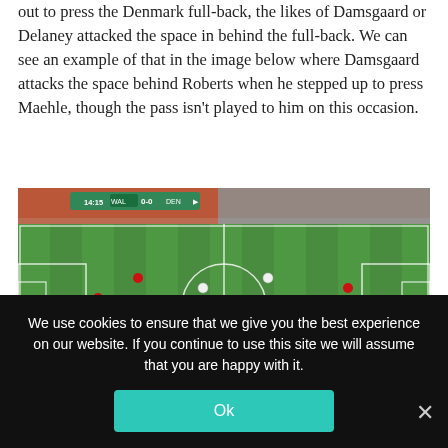out to press the Denmark full-back, the likes of Damsgaard or Delaney attacked the space in behind the full-back. We can see an example of that in the image below where Damsgaard attacks the space behind Roberts when he stepped up to press Maehle, though the pass isn't played to him on this occasion.
[Figure (photo): Screenshot of a football match broadcast showing a wide aerial view of a soccer field. The scoreboard shows 14:15, WAL 0-0 DEN. Red-shirted players (Wales) and white-shirted players (Denmark) are visible on the green pitch with white markings. Stadium crowd visible in background.]
We use cookies to ensure that we give you the best experience on our website. If you continue to use this site we will assume that you are happy with it.